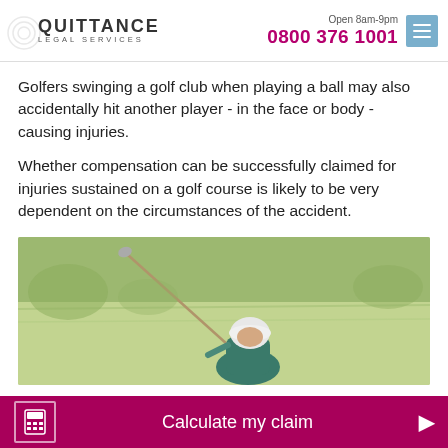Quittance Legal Services — Open 8am-9pm — 0800 376 1001
Golfers swinging a golf club when playing a ball may also accidentally hit another player - in the face or body - causing injuries.
Whether compensation can be successfully claimed for injuries sustained on a golf course is likely to be very dependent on the circumstances of the accident.
[Figure (photo): A golfer swinging a golf club on a golf course, viewed from behind/side, with the ball in motion]
Calculate my claim